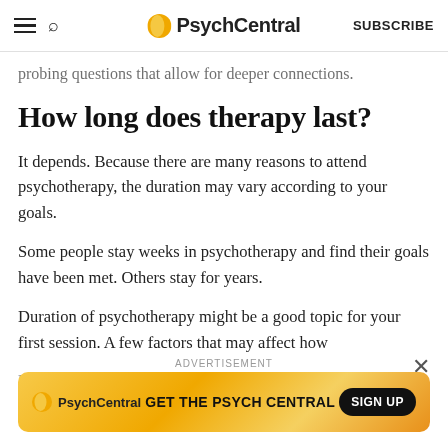PsychCentral — SUBSCRIBE
probing questions that allow for deeper connections.
How long does therapy last?
It depends. Because there are many reasons to attend psychotherapy, the duration may vary according to your goals.
Some people stay weeks in psychotherapy and find their goals have been met. Others stay for years.
Duration of psychotherapy might be a good topic for your first session. A few factors that may affect how long psychotherapy lasts include:
[Figure (other): PsychCentral advertisement banner with orange/yellow gradient background, PsychCentral logo, text 'GET THE PSYCH CENTRAL' and a 'SIGN UP' button]